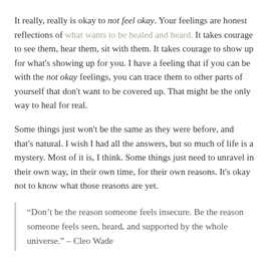It really, really is okay to not feel okay. Your feelings are honest reflections of what wants to be healed and heard. It takes courage to see them, hear them, sit with them. It takes courage to show up for what's showing up for you. I have a feeling that if you can be with the not okay feelings, you can trace them to other parts of yourself that don't want to be covered up. That might be the only way to heal for real.
Some things just won't be the same as they were before, and that's natural. I wish I had all the answers, but so much of life is a mystery. Most of it is, I think. Some things just need to unravel in their own way, in their own time, for their own reasons. It's okay not to know what those reasons are yet.
“Don’t be the reason someone feels insecure. Be the reason someone feels seen, heard, and supported by the whole universe.” – Cleo Wade